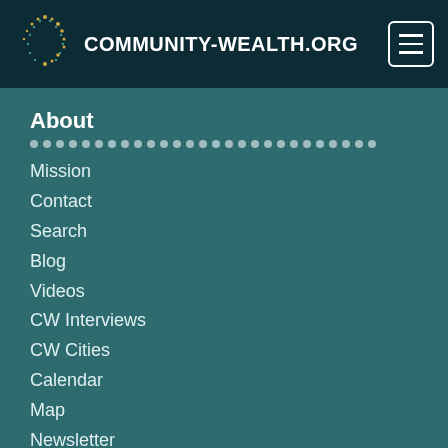COMMUNITY-WEALTH.ORG
About
Mission
Contact
Search
Blog
Videos
CW Interviews
CW Cities
Calendar
Map
Newsletter
Resources